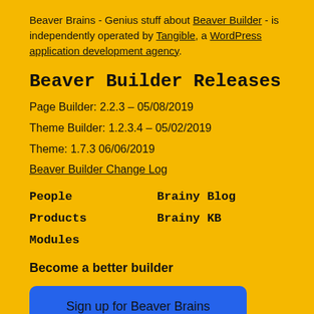Beaver Brains - Genius stuff about Beaver Builder - is independently operated by Tangible, a WordPress application development agency.
Beaver Builder Releases
Page Builder: 2.2.3 – 05/08/2019
Theme Builder: 1.2.3.4 – 05/02/2019
Theme: 1.7.3 06/06/2019
Beaver Builder Change Log
People
Brainy Blog
Products
Brainy KB
Modules
Become a better builder
Sign up for Beaver Brains